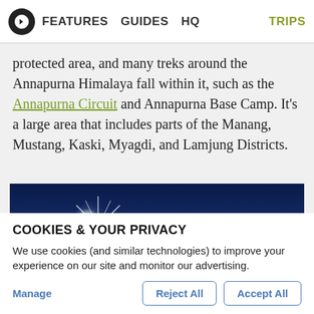FEATURES   GUIDES   HQ   TRIPS
protected area, and many treks around the Annapurna Himalaya fall within it, such as the Annapurna Circuit and Annapurna Base Camp. It’s a large area that includes parts of the Manang, Mustang, Kaski, Myagdi, and Lamjung Districts.
[Figure (photo): Mountain panorama with sun star burst over snow-covered Himalayan peaks against a deep blue sky, with a snowy foreground slope]
COOKIES & YOUR PRIVACY
We use cookies (and similar technologies) to improve your experience on our site and monitor our advertising.
Manage   Reject All   Accept All